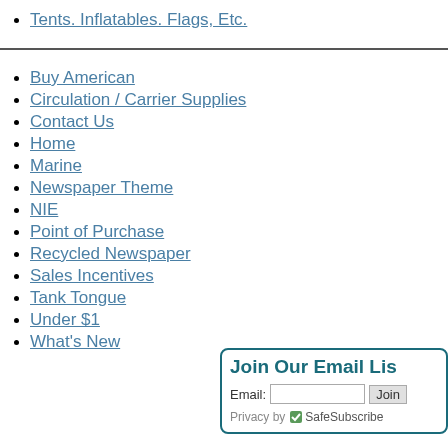Tents. Inflatables. Flags, Etc.
Buy American
Circulation / Carrier Supplies
Contact Us
Home
Marine
Newspaper Theme
NIE
Point of Purchase
Recycled Newspaper
Sales Incentives
Tank Tongue
Under $1
What's New
Join Our Email List - Email: [input] Join - Privacy by SafeSubscribe